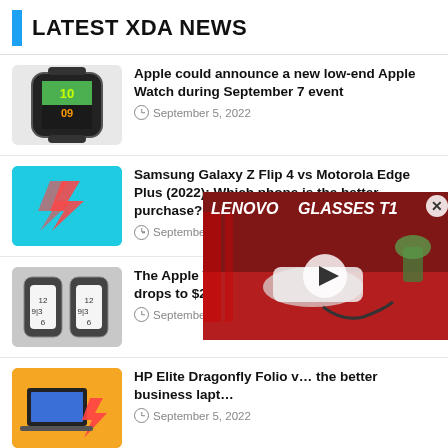LATEST XDA NEWS
Apple could announce a new low-end Apple Watch during September 7 event
September 5, 2022
Samsung Galaxy Z Flip 4 vs Motorola Edge Plus (2022): Which phone is the better purchase?
September 5, 2022
The Apple Watch SE with cellular connectivity drops to $229
September 5, 2022
HP Elite Dragonfly Folio … the better business lapt…
September 5, 2022
Apple Watch Series 8 and Apple Watch Pro: Everything we know about Apple's 2022 smartwatches so far
September 5, 2022
[Figure (screenshot): Video overlay showing LENOVO GLASSES T1 with play button]